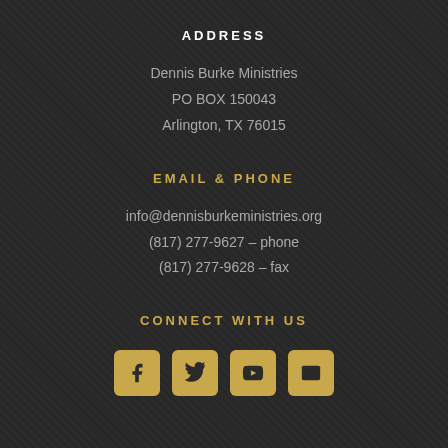ADDRESS
Dennis Burke Ministries
PO BOX 150043
Arlington, TX 76015
EMAIL & PHONE
info@dennisburkeministries.org
(817) 277-9627 – phone
(817) 277-9628 – fax
CONNECT WITH US
[Figure (infographic): Four social media icons in gold: Facebook, Twitter, YouTube, and Email/envelope icons in square rounded boxes]